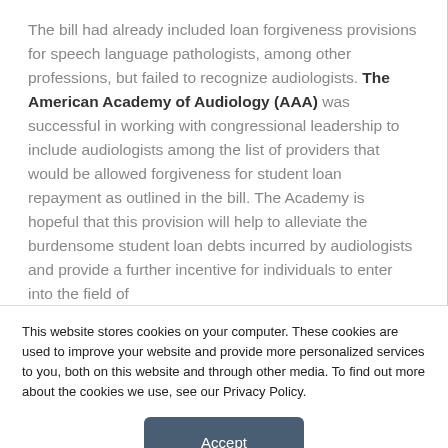The bill had already included loan forgiveness provisions for speech language pathologists, among other professions, but failed to recognize audiologists. The American Academy of Audiology (AAA) was successful in working with congressional leadership to include audiologists among the list of providers that would be allowed forgiveness for student loan repayment as outlined in the bill. The Academy is hopeful that this provision will help to alleviate the burdensome student loan debts incurred by audiologists and provide a further incentive for individuals to enter into the field of
This website stores cookies on your computer. These cookies are used to improve your website and provide more personalized services to you, both on this website and through other media. To find out more about the cookies we use, see our Privacy Policy.